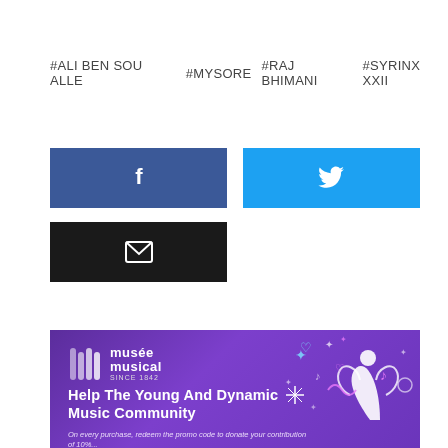#ALI BEN SOU ALLE   #MYSORE   #RAJ BHIMANI   #SYRINX XXII
[Figure (infographic): Facebook share button (dark blue with white f icon), Twitter share button (cyan/sky blue with white bird icon), Email share button (black with white envelope icon)]
[Figure (infographic): Musée Musical promotional banner with purple gradient background. Logo with stylized M icon and 'musée musical since 1842' text. Headline: 'Help The Young And Dynamic Music Community'. Subtext: 'On every purchase, redeem the promo code to donate your contribution of 10% up to Rs 50001 to Musee Musical...' Decorative elements: stars, hearts, musical notes, ribbons on right side.]